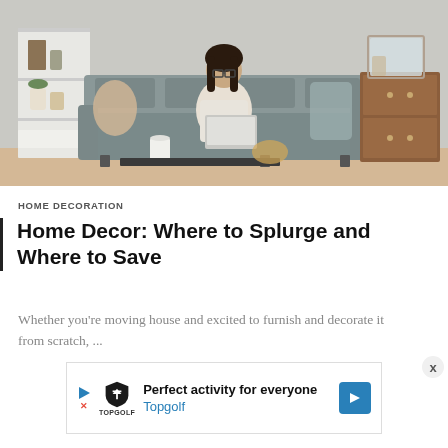[Figure (photo): Woman sitting on a grey sofa working on a laptop in a modern living room with grey walls, a coffee table with a mug, a wooden dresser on the right, and shelving on the left with kitchenware and plants.]
HOME DECORATION
Home Decor: Where to Splurge and Where to Save
Whether you're moving house and excited to furnish and decorate it from scratch, ...
[Figure (infographic): Advertisement banner: Perfect activity for everyone - Topgolf, with Topgolf logo, play button icon, X close button, and a blue arrow navigation button.]